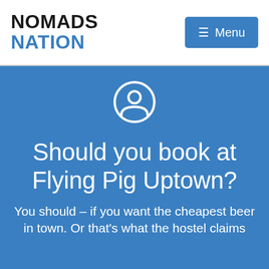NOMADS NATION  Menu
[Figure (illustration): White user/person avatar icon (circle with head and shoulders silhouette) on blue background]
Should you book at Flying Pig Uptown?
You should – if you want the cheapest beer in town. Or that's what the hostel claims...